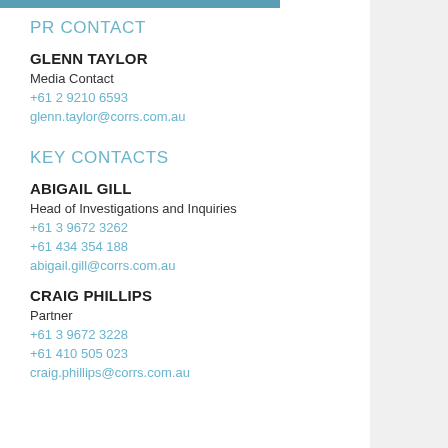PR CONTACT
GLENN TAYLOR
Media Contact
+61 2 9210 6593
glenn.taylor@corrs.com.au
KEY CONTACTS
ABIGAIL GILL
Head of Investigations and Inquiries
+61 3 9672 3262
+61 434 354 188
abigail.gill@corrs.com.au
CRAIG PHILLIPS
Partner
+61 3 9672 3228
+61 410 505 023
craig.phillips@corrs.com.au